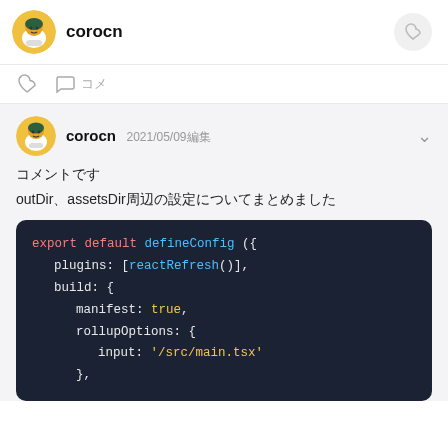corocn
コメント
corocn 2021/05/09編集
コメントです
outDir、assetsDir周辺の設定についてまとめました
[Figure (screenshot): Code block showing vite config: export default defineConfig({ plugins: [reactRefresh()], build: { manifest: true, rollupOptions: { input: '/src/main.tsx' }, },]